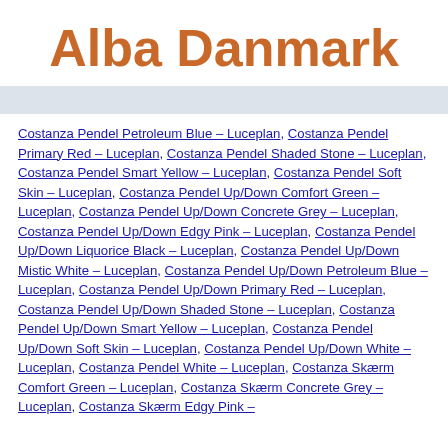Alba Danmark
Costanza Pendel Petroleum Blue – Luceplan, Costanza Pendel Primary Red – Luceplan, Costanza Pendel Shaded Stone – Luceplan, Costanza Pendel Smart Yellow – Luceplan, Costanza Pendel Soft Skin – Luceplan, Costanza Pendel Up/Down Comfort Green – Luceplan, Costanza Pendel Up/Down Concrete Grey – Luceplan, Costanza Pendel Up/Down Edgy Pink – Luceplan, Costanza Pendel Up/Down Liquorice Black – Luceplan, Costanza Pendel Up/Down Mistic White – Luceplan, Costanza Pendel Up/Down Petroleum Blue – Luceplan, Costanza Pendel Up/Down Primary Red – Luceplan, Costanza Pendel Up/Down Shaded Stone – Luceplan, Costanza Pendel Up/Down Smart Yellow – Luceplan, Costanza Pendel Up/Down Soft Skin – Luceplan, Costanza Pendel Up/Down White – Luceplan, Costanza Pendel White – Luceplan, Costanza Skærm Comfort Green – Luceplan, Costanza Skærm Concrete Grey – Luceplan, Costanza Skærm Edgy Pink –